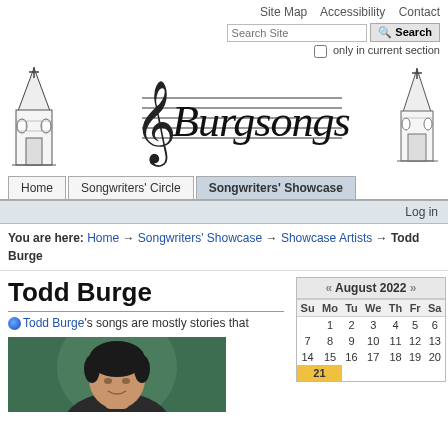Site Map   Accessibility   Contact
Search Site [search box] [Search button] only in current section
[Figure (logo): Burgsongs logo with treble clef and musical staff text, flanked by two church steeple illustrations]
Home | Songwriters' Circle | Songwriters' Showcase
Log in
You are here: Home → Songwriters' Showcase → Showcase Artists → Todd Burge
Todd Burge
Todd Burge's songs are mostly stories that
[Figure (photo): Headshot photo of Todd Burge, a man with dark hair against a green background]
| Su | Mo | Tu | We | Th | Fr | Sa |
| --- | --- | --- | --- | --- | --- | --- |
|  | 1 | 2 | 3 | 4 | 5 | 6 |
| 7 | 8 | 9 | 10 | 11 | 12 | 13 |
| 14 | 15 | 16 | 17 | 18 | 19 | 20 |